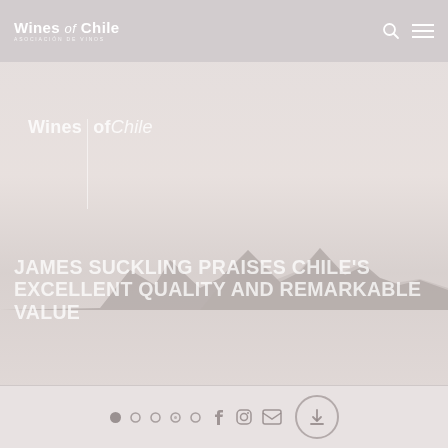Wines of Chile
[Figure (logo): Wines of Chile logo with vertical divider line, large version in main area]
[Figure (illustration): Mountain silhouette panorama in muted grey/pink tones]
JAMES SUCKLING PRAISES CHILE'S EXCELLENT QUALITY AND REMARKABLE VALUE
Navigation dots and social media icons: Facebook, Instagram, Email, and download button